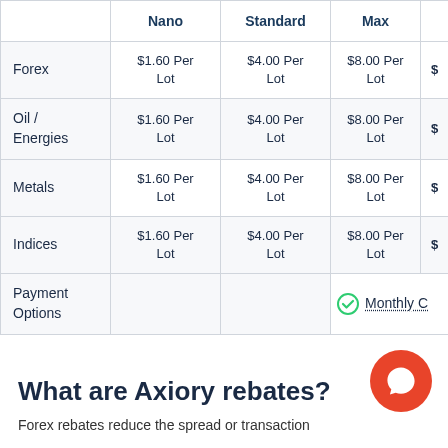|  | Nano | Standard | Max | $ |
| --- | --- | --- | --- | --- |
| Forex | $1.60 Per Lot | $4.00 Per Lot | $8.00 Per Lot | $ |
| Oil / Energies | $1.60 Per Lot | $4.00 Per Lot | $8.00 Per Lot | $ |
| Metals | $1.60 Per Lot | $4.00 Per Lot | $8.00 Per Lot | $ |
| Indices | $1.60 Per Lot | $4.00 Per Lot | $8.00 Per Lot | $ |
| Payment Options |  |  | Monthly C |  |
What are Axiory rebates?
Forex rebates reduce the spread or transaction